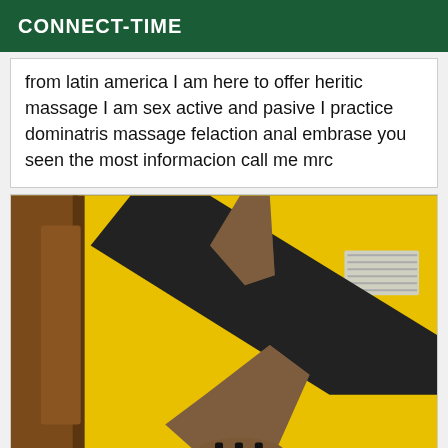CONNECT-TIME
from latin america I am here to offer heritic massage I am sex active and pasive I practice dominatris massage felaction anal embrase you seen the most informacion call me mrc
[Figure (photo): A photo showing legs in fishnet stockings and strappy heels propped up against a bright yellow wall/surface]